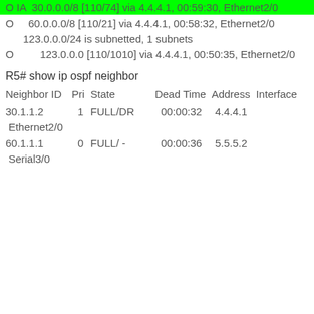O IA  30.0.0.0/8 [110/74] via 4.4.4.1, 00:59:30, Ethernet2/0
O     60.0.0.0/8 [110/21] via 4.4.4.1, 00:58:32, Ethernet2/0
      123.0.0.0/24 is subnetted, 1 subnets
O        123.0.0.0 [110/1010] via 4.4.4.1, 00:50:35, Ethernet2/0
R5# show ip ospf neighbor
| Neighbor ID | Pri | State | Dead Time | Address | Interface |
| --- | --- | --- | --- | --- | --- |
| 30.1.1.2 | 1 | FULL/DR | 00:00:32 | 4.4.4.1 | Ethernet2/0 |
| 60.1.1.1 | 0 | FULL/ - | 00:00:36 | 5.5.5.2 | Serial3/0 |